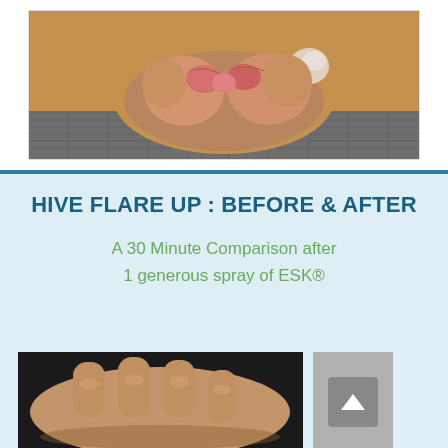[Figure (photo): Close-up photo of a dog's paw showing skin condition between the toes, reddish inflamed areas visible, paw resting on a textured surface]
HIVE FLARE UP : BEFORE & AFTER
A 30 Minute Comparison after 1 generous spray of ESK®
[Figure (photo): Photo of a human hand showing skin condition before or after treatment with ESK spray]